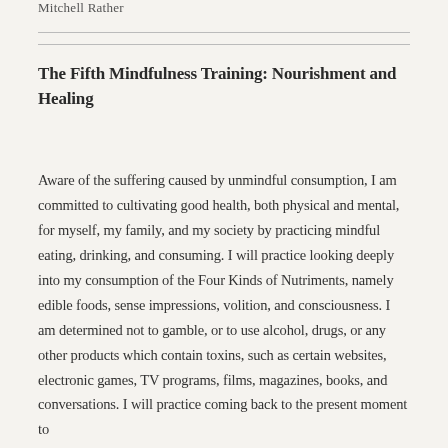Mitchell Rather
The Fifth Mindfulness Training: Nourishment and Healing
Aware of the suffering caused by unmindful consumption, I am committed to cultivating good health, both physical and mental, for myself, my family, and my society by practicing mindful eating, drinking, and consuming. I will practice looking deeply into my consumption of the Four Kinds of Nutriments, namely edible foods, sense impressions, volition, and consciousness. I am determined not to gamble, or to use alcohol, drugs, or any other products which contain toxins, such as certain websites, electronic games, TV programs, films, magazines, books, and conversations. I will practice coming back to the present moment to